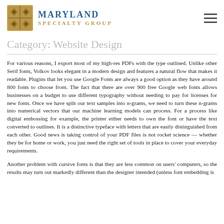MARYLAND SPECIALTY GROUP
Category: Website Design
For various reasons, I export most of my high-res PDFs with the type outlined. Unlike other Serif fonts, Volkov looks elegant in a modern design and features a natural flow that makes it readable. Plugins that let you use Google Fonts are always a good option as they have around 800 fonts to choose from. The fact that there are over 900 free Google web fonts allows businesses on a budget to use different typography without needing to pay for licenses for new fonts. Once we have split our text samples into n-grams, we need to turn these n-grams into numerical vectors that our machine learning models can process. For a process like digital embossing for example, the printer either needs to own the font or have the text converted to outlines. It is a distinctive typeface with letters that are easily distinguished from each other. Good news is taking control of your PDF files is not rocket science — whether they be for home or work, you just need the right set of tools in place to cover your everyday requirements.
Another problem with cursive fonts is that they are less common on users' computers, so the results may turn out markedly different than the designer intended (unless font embedding is